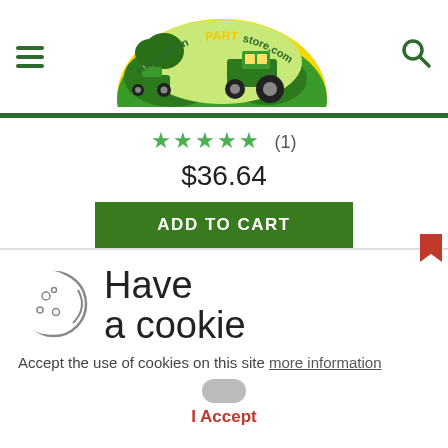[Figure (logo): www.greenPARTstore.com logo with tractor and lawn mower illustration on green/yellow background]
★★★★★ (1)
$36.64
ADD TO CART
[Figure (illustration): Cookie icon - circle with cookie/dots pattern]
Have a cookie
Accept the use of cookies on this site more information
I Accept